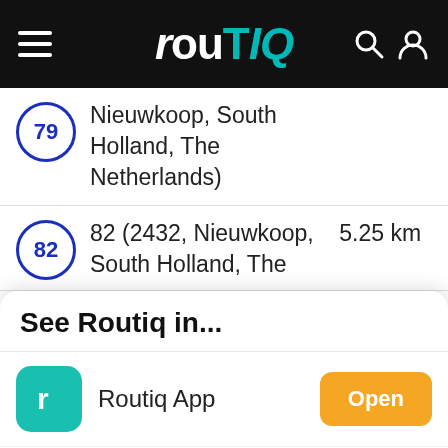routIQ — navigation bar with hamburger menu, logo, search and profile icons
Nieuwkoop, South Holland, The Netherlands)
82 (2432, Nieuwkoop, South Holland, The   5.25 km
See Routiq in...
Routiq App
Browser